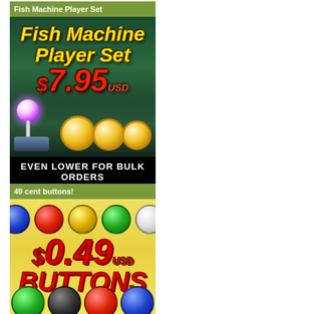Fish Machine Player Set
[Figure (photo): Advertisement for Fish Machine Player Set showing a joystick with glowing ball, arcade buttons/coins, price $7.95 USD, and text 'EVEN LOWER FOR BULK ORDERS']
49 cent buttons!
[Figure (photo): Advertisement for arcade buttons at $0.49 USD each, showing colorful arcade buttons in blue, red, yellow, green, white (top row) and green, black, red, blue (bottom row)]